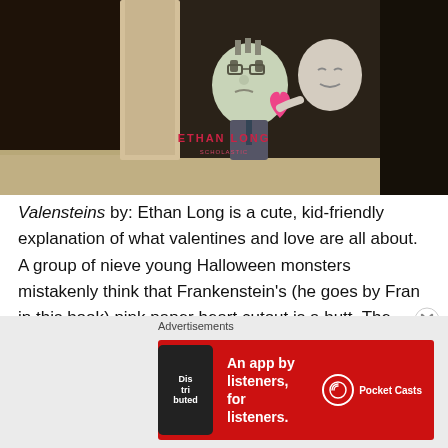[Figure (photo): Photo of a book titled by Ethan Long showing cartoon monster characters — Frankenstein and another monster — holding a pink heart, photographed on a carpet floor. The book spine/cover shows the author name ETHAN LONG in red letters.]
Valensteins by: Ethan Long is a cute, kid-friendly explanation of what valentines and love are all about. A group of nieve young Halloween monsters mistakenly think that Frankenstein's (he goes by Fran in this book) pink paper heart cutout is a butt. The kindly Easter
Advertisements
[Figure (screenshot): Pocket Casts advertisement banner. Red background with white text reading 'An app by listeners, for listeners.' A phone showing 'Distributed' book/podcast cover. Pocket Casts logo on the right.]